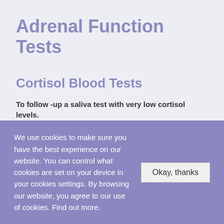Adrenal Function Tests
Cortisol Blood Tests
To follow -up a saliva test with very low cortisol levels.
Cortisol blood tests are used to assess stress levels and help diagnose Cushing's syndrome and Addison's disease which are
We use cookies to make sure you have the best experience on our website. You can control what cookies are set on your device in your cookies settings. By browsing our website, you agree to our use of cookies. Find out more.